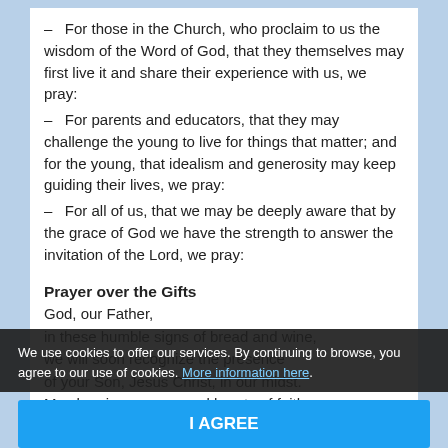– For those in the Church, who proclaim to us the wisdom of the Word of God, that they themselves may first live it and share their experience with us, we pray:
– For parents and educators, that they may challenge the young to live for things that matter; and for the young, that idealism and generosity may keep guiding their lives, we pray:
– For all of us, that we may be deeply aware that by the grace of God we have the strength to answer the invitation of the Lord, we pray:
Prayer over the Gifts
God, our Father,
in these humble signs of bread and wine,
we will soon recognize the presence
of your Son, Jesus Christ, in our midst.
May he give us eyes and hearts of faith
[partially obscured]
in all w[obscured]
[obscured]
to know that we owe to the poor
We use cookies to offer our services. By continuing to browse, you agree to our use of cookies. More information here.
I AGREE